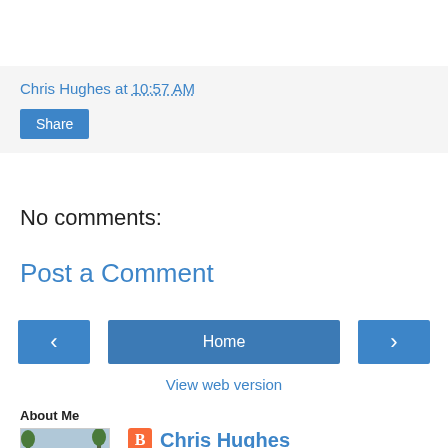Chris Hughes at 10:57 AM
Share
No comments:
Post a Comment
‹
Home
›
View web version
About Me
[Figure (photo): Photo of Chris Hughes on a motorcycle in a parking lot]
Chris Hughes
View my complete profile